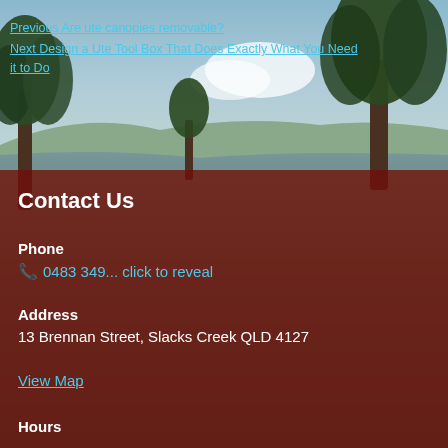[Figure (photo): Outdoor landscape with trees, sky, water body, and hills in the background. Upper portion shows natural scenery. Lower portion has a dark red/maroon semi-transparent overlay.]
Previous Are ute canopies removable?
Next Design a Ute Tool Box That Does Exactly What You Need it to Do
Contact Us
Phone
0483 349... click to reveal
Address
13 Brennan Street, Slacks Creek QLD 4127
View Map
Hours